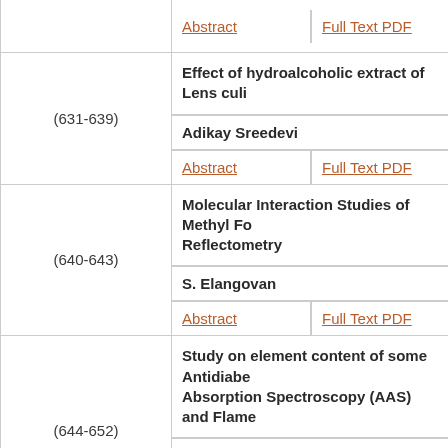| Pages | Content |
| --- | --- |
|  | Abstract | Full Text PDF |
| (631-639) | Effect of hydroalcoholic extract of Lens culi...
Adikay Sreedevi
Abstract | Full Text PDF |
| (640-643) | Molecular Interaction Studies of Methyl Fo... Reflectometry
S. Elangovan
Abstract | Full Text PDF |
| (644-652) | Study on element content of some Antidiabe... Absorption Spectroscopy (AAS) and Flame...
Biswajit Sarma and Bhabesh Ch. Goswami
Abstract | Full Text PDF |